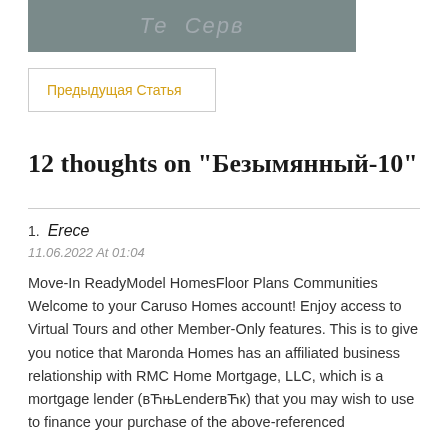[Figure (photo): Partially visible image with watermark text at top of page]
Предыдущая Статья
12 thoughts on "Безымянный-10"
Erece
11.06.2022 At 01:04

Move-In ReadyModel HomesFloor Plans Communities Welcome to your Caruso Homes account! Enjoy access to Virtual Tours and other Member-Only features. This is to give you notice that Maronda Homes has an affiliated business relationship with RMC Home Mortgage, LLC, which is a mortgage lender (вЋњLenderвЋк) that you may wish to use to finance your purchase of the above-referenced